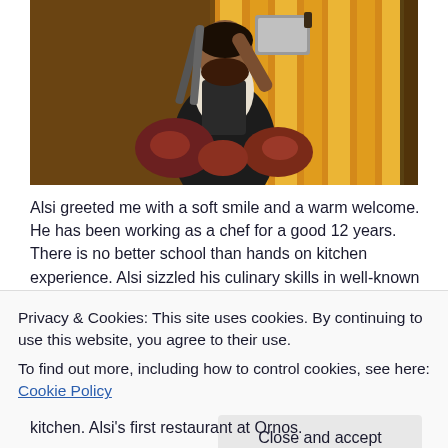[Figure (photo): A chef in a dark apron holding a large cleaver and tongs, surrounded by cuts of meat, with warm glowing lights in the background.]
Alsi greeted me with a soft smile and a warm welcome. He has been working as a chef for a good 12 years. There is no better school than hands on kitchen experience. Alsi sizzled his culinary skills in well-known Myconian
Privacy & Cookies: This site uses cookies. By continuing to use this website, you agree to their use.
To find out more, including how to control cookies, see here: Cookie Policy
kitchen. Alsi's first restaurant at Ornos.